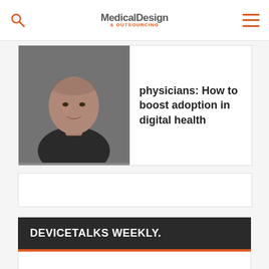Medical Design & Outsourcing
[Figure (photo): Portrait photo of a bald man]
physicians: How to boost adoption in digital health
DEVICETALKS WEEKLY.